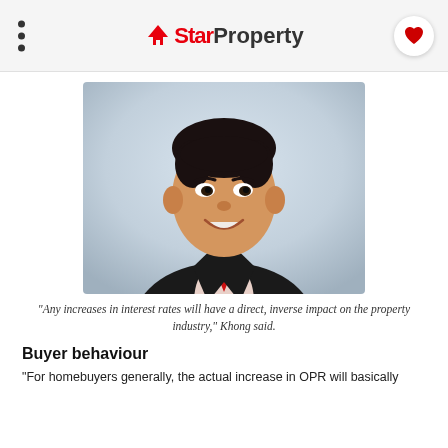StarProperty
[Figure (photo): Professional headshot of a smiling Asian man in a black suit and red tie against a light background]
“Any increases in interest rates will have a direct, inverse impact on the property industry,” Khong said.
Buyer behaviour
“For homebuyers generally, the actual increase in OPR will basically